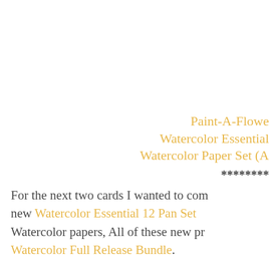Paint-A-Flower
Watercolor Essentials
Watercolor Paper Set (A
********
For the next two cards I wanted to combine new Watercolor Essential 12 Pan Set Watercolor papers, All of these new products are in the Watercolor Full Release Bundle.